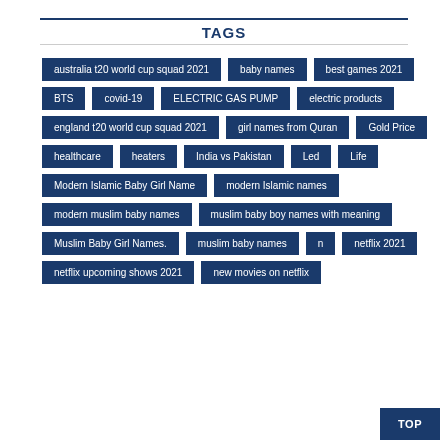TAGS
australia t20 world cup squad 2021
baby names
best games 2021
BTS
covid-19
ELECTRIC GAS PUMP
electric products
england t20 world cup squad 2021
girl names from Quran
Gold Price
healthcare
heaters
India vs Pakistan
Led
Life
Modern Islamic Baby Girl Name
modern Islamic names
modern muslim baby names
muslim baby boy names with meaning
Muslim Baby Girl Names.
muslim baby names
n
netflix 2021
netflix upcoming shows 2021
new movies on netflix